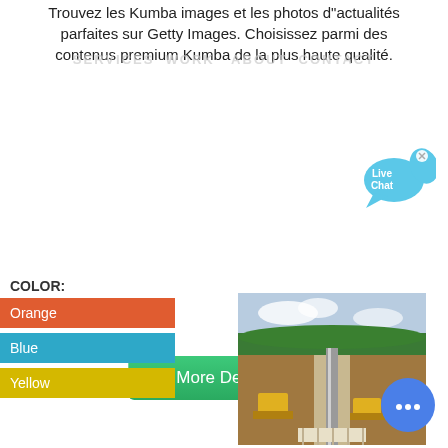Trouvez les Kumba images et les photos d"actualités parfaites sur Getty Images. Choisissez parmi des contenus premium Kumba de la plus haute qualité.
SERVICES  WORK   ABOUT  CONTACT
More Details
[Figure (infographic): Live Chat speech bubble widget in cyan/blue with 'x' close button]
COLOR:
Orange
Blue
Yellow
[Figure (photo): Aerial view of a pipeline construction site through a rural landscape with machinery and workers]
[Figure (infographic): Blue circle chat button with three dots (live chat widget)]